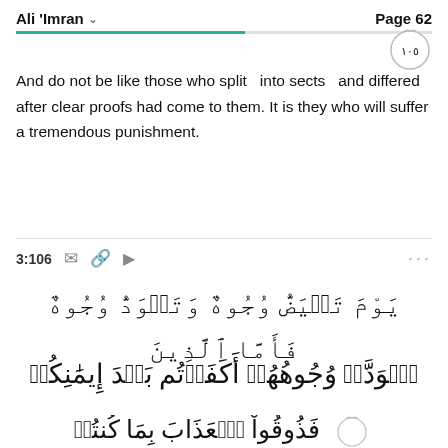Ali 'Imran    Page 62
[Figure (illustration): Circular badge with Arabic numeral 1.0.5 (١٠٥) representing verse number 105]
And do not be like those who split   into sects   and differed after clear proofs had come to them. It is they who will suffer a tremendous punishment.
3:106
يَوْمَ تَبْيَضُّ وُجُوهٌ وَتَسْوَدُّ وُجُوهٌ فَأَمَّا الَّذِينَ اسْوَدَّتْ وُجُوهُهُمْ أَكَفَرْتُم بَعْدَ إِيمَٰنِكُمْ